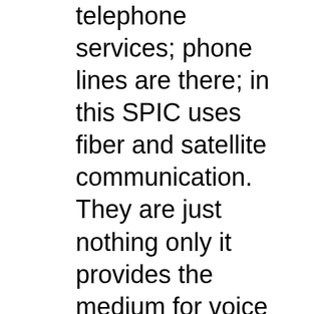telephone services; phone lines are there; in this SPIC uses fiber and satellite communication. They are just nothing only it provides the medium for voice and data. SPIC maintains multiple backup, hence different types of medium like fiber optics line, satellite communication and other medium are recommended for passing the data. Now for passing the data, you need network equipment like modem, router and switches are used. If one sees, router, switch and modem are products available in the market. They are commerically available. raja babu and his team of traitors put the order of shelter that is consisting of routers, modem and switch. If one purchase directly from these vendor in open market (Sir PM's policy), the cost comes to Rs 105 Cr. Sir, if you want, I can send you shelter and equipment details. You also can verify from the vedor. SPIC has paid Rs 328 Cr.